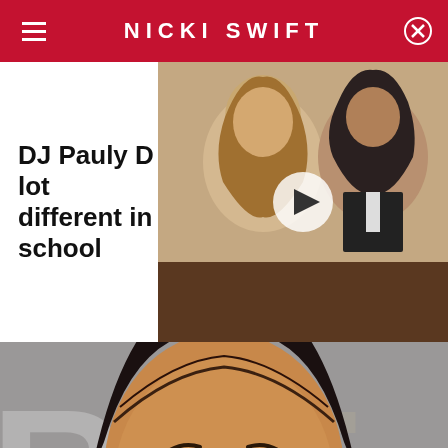NICKI SWIFT
DJ Pauly D looked a lot different in school
[Figure (photo): Video thumbnail showing a man and woman posing together, with a play button overlay]
[Figure (photo): Large close-up photo of DJ Pauly D smiling at camera, wearing gold chain, at what appears to be a red carpet event. Background shows partial text letters. Photo credit: Earl Gibson III/Getty Images]
Earl Gibson III/Getty Images